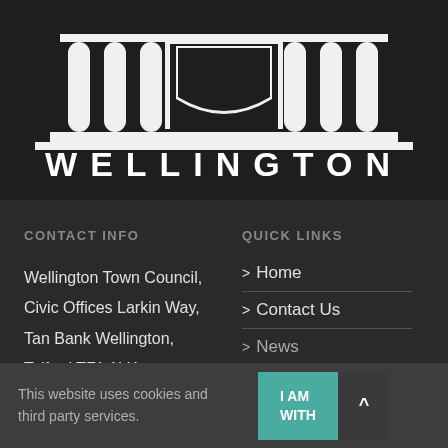[Figure (logo): Wellington Town Council logo with stylized building/columns silhouette in white on dark background, with the word WELLINGTON in bold white uppercase letters below]
CONTACT INFO
Wellington Town Council, Civic Offices Larkin Way, Tan Bank Wellington, Telford TF1 1LX
QUICK LINKS
> Home
> Contact Us
> News
This website uses cookies and third party services.